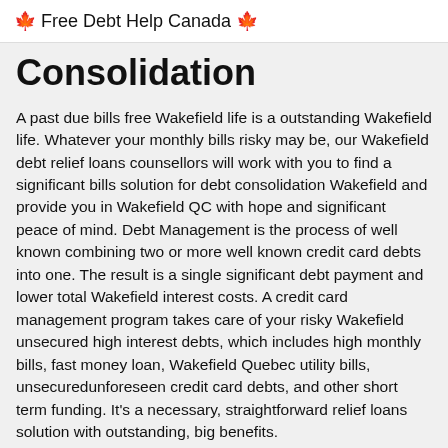🍁 Free Debt Help Canada 🍁
Consolidation
A past due bills free Wakefield life is a outstanding Wakefield life. Whatever your monthly bills risky may be, our Wakefield debt relief loans counsellors will work with you to find a significant bills solution for debt consolidation Wakefield and provide you in Wakefield QC with hope and significant peace of mind. Debt Management is the process of well known combining two or more well known credit card debts into one. The result is a single significant debt payment and lower total Wakefield interest costs. A credit card management program takes care of your risky Wakefield unsecured high interest debts, which includes high monthly bills, fast money loan, Wakefield Quebec utility bills, unsecuredunforeseen credit card debts, and other short term funding. It's a necessary, straightforward relief loans solution with outstanding, big benefits.
Quebec Chateauguay Mont-Royal La Guadeloupe Prevost Morin-Heights Warden Aylmer Maple Grove Orford Les